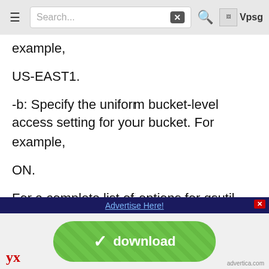Search...
example,
US-EAST1.
-b: Specify the uniform bucket-level access setting for your bucket. For example,
ON.
For a complete list of options for gsutil bucket creation, see mb options.
For example:
[Figure (screenshot): Advertisement banner with 'Advertise Here!' link in dark blue bar, and green download button with diagonal stripes below]